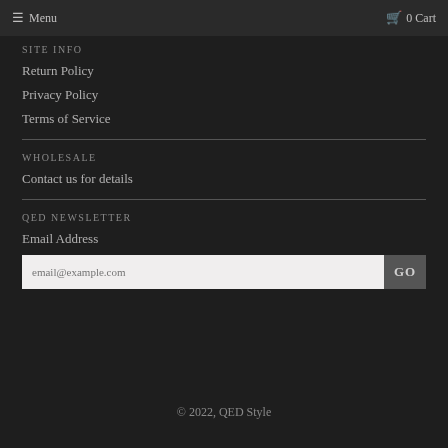≡ Menu  🛒 0 Cart
SITE INFO
Return Policy
Privacy Policy
Terms of Service
WHOLESALE
Contact us for details
QED NEWSLETTER
Email Address
email@example.com  GO
© 2022, QED Style